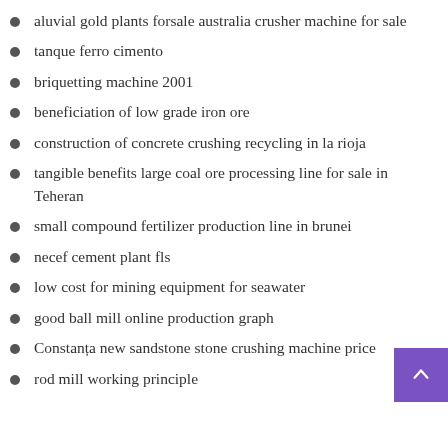aluvial gold plants forsale australia crusher machine for sale
tanque ferro cimento
briquetting machine 2001
beneficiation of low grade iron ore
construction of concrete crushing recycling in la rioja
tangible benefits large coal ore processing line for sale in Teheran
small compound fertilizer production line in brunei
necef cement plant fls
low cost for mining equipment for seawater
good ball mill online production graph
Constanța new sandstone stone crushing machine price
rod mill working principle